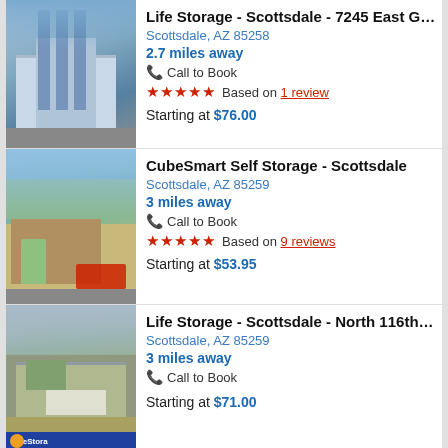[Figure (photo): Photo of Life Storage Scottsdale building exterior - modern multi-story building with glass facade]
Life Storage - Scottsdale - 7245 East G…
Scottsdale, AZ 85258
2.7 miles away
Call to Book
★★★★★  Based on 1 review
Starting at $76.00
[Figure (photo): Photo of CubeSmart Self Storage Scottsdale exterior - brick building with CubeSmart signage and landscaping]
CubeSmart Self Storage - Scottsdale
Scottsdale, AZ 85259
3 miles away
Call to Book
★★★★★  Based on 9 reviews
Starting at $53.95
[Figure (photo): Photo of Life Storage Scottsdale North 116th location - single-story building with Life Storage sign]
Life Storage - Scottsdale - North 116th…
Scottsdale, AZ 85259
3 miles away
Call to Book
Starting at $71.00